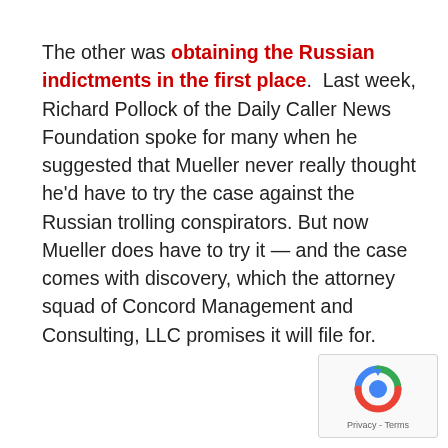The other was obtaining the Russian indictments in the first place. Last week, Richard Pollock of the Daily Caller News Foundation spoke for many when he suggested that Mueller never really thought he'd have to try the case against the Russian trolling conspirators. But now Mueller does have to try it — and the case comes with discovery, which the attorney squad of Concord Management and Consulting, LLC promises it will file for.
[Figure (other): Google reCAPTCHA widget showing the reCAPTCHA logo (circular arrows icon) and 'Privacy - Terms' text]